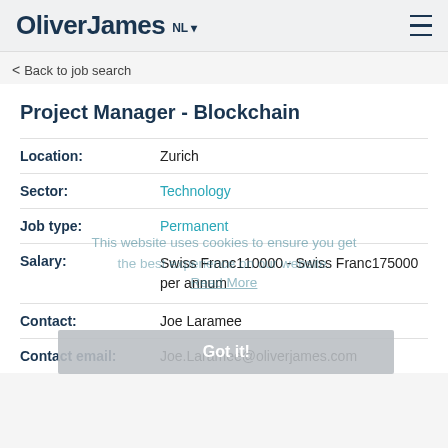OliverJames NL ☰
< Back to job search
Project Manager - Blockchain
| Field | Value |
| --- | --- |
| Location: | Zurich |
| Sector: | Technology |
| Job type: | Permanent |
| Salary: | Swiss Franc110000 - Swiss Franc175000 per annum |
| Contact: | Joe Laramee |
| Contact email: | Joe.Laramee@oliverjames.com |
This website uses cookies to ensure you get the best experience on our website. Read More Got it!